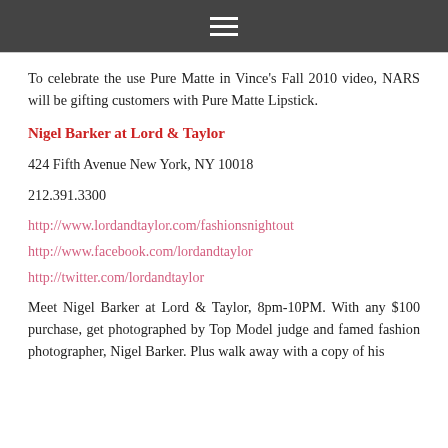☰
To celebrate the use Pure Matte in Vince's Fall 2010 video, NARS will be gifting customers with Pure Matte Lipstick.
Nigel Barker at Lord & Taylor
424 Fifth Avenue New York, NY 10018
212.391.3300
http://www.lordandtaylor.com/fashionsnightout
http://www.facebook.com/lordandtaylor
http://twitter.com/lordandtaylor
Meet Nigel Barker at Lord & Taylor, 8pm-10PM. With any $100 purchase, get photographed by Top Model judge and famed fashion photographer, Nigel Barker. Plus walk away with a copy of his